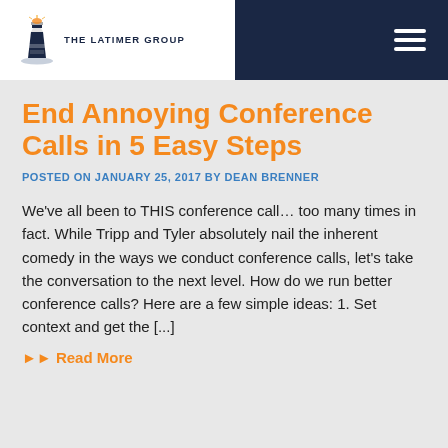THE LATIMER GROUP
End Annoying Conference Calls in 5 Easy Steps
POSTED ON JANUARY 25, 2017 BY DEAN BRENNER
We've all been to THIS conference call… too many times in fact. While Tripp and Tyler absolutely nail the inherent comedy in the ways we conduct conference calls, let's take the conversation to the next level. How do we run better conference calls? Here are a few simple ideas: 1. Set context and get the [...]
►► Read More